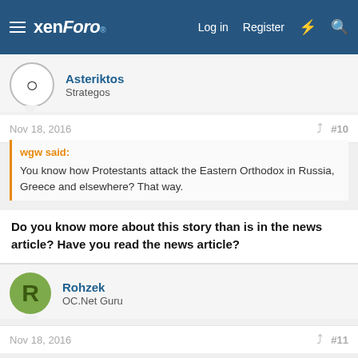xenForo — Log in  Register
Asteriktos
Strategos
Nov 18, 2016    #10
wgw said:
You know how Protestants attack the Eastern Orthodox in Russia, Greece and elsewhere?  That way.
Do you know more about this story than is in the news article? Have you read the news article?
Rohzek
OC.Net Guru
Nov 18, 2016    #11